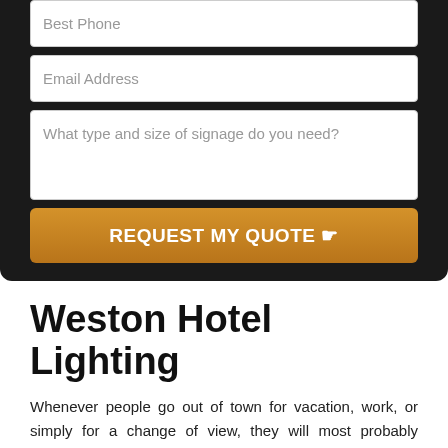[Figure (screenshot): Web form with input fields for Best Phone, Email Address, a textarea for signage type/size, and a REQUEST MY QUOTE button on dark background]
Weston Hotel Lighting
Whenever people go out of town for vacation, work, or simply for a change of view, they will most probably consider staying at a hotel. Hotels serve as a traveler's temporary home while away from home, allowing them to rest after a long day of moving around a place or doing work.
It is